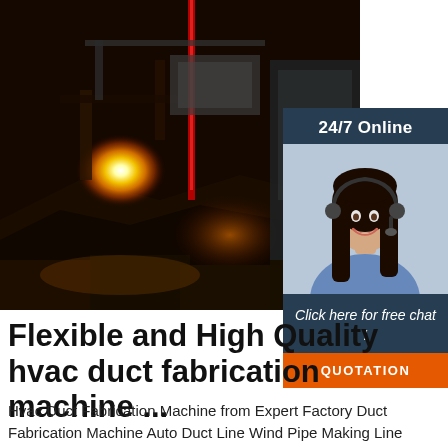[Figure (photo): Industrial HVAC duct fabrication machine with bright orange-yellow flame/welding light visible in a dark factory setting with metalwork components]
[Figure (photo): 24/7 online customer service chat widget showing a smiling woman with headset, header text '24/7 Online', body text 'Click here for free chat!', and orange QUOTATION button]
Flexible and High Quality hvac duct fabrication machine ...
Hvac Duct Fabrication Machine from Expert Factory Duct Fabrication Machine Auto Duct Line Wind Pipe Making Line 10-15m/min 10000. $11,280.00 $18,500.00 Set. 1.0 Sets (Min. Order)